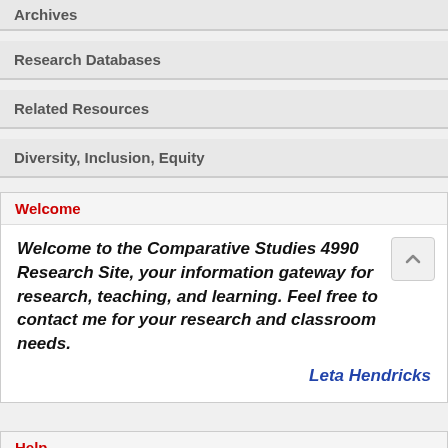Archives
Research Databases
Related Resources
Diversity, Inclusion, Equity
Welcome
Welcome to the Comparative Studies 4990 Research Site, your information gateway for research, teaching, and learning. Feel free to contact me for your research and classroom needs.

Leta Hendricks
Help
Welcome | Disability Services | Reference